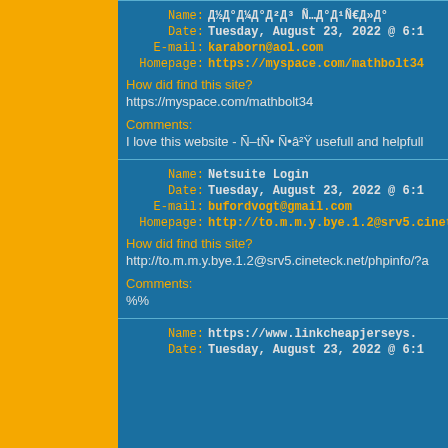Name: Д½Д°Д¼Д°Д²Д³ Ñ…Д°Д¹Ñ€Д»Д°
Date: Tuesday, August 23, 2022 @ 6:1
E-mail: karaborn@aol.com
Homepage: https://myspace.com/mathbolt34
How did find this site?
https://myspace.com/mathbolt34
Comments:
I love this website - Ñ–tÑ• Ñ•â²Ÿ usefull and helpfull
Name: Netsuite Login
Date: Tuesday, August 23, 2022 @ 6:1
E-mail: bufordvogt@gmail.com
Homepage: http://to.m.m.y.bye.1.2@srv5.cineteck.
How did find this site?
http://to.m.m.y.bye.1.2@srv5.cineteck.net/phpinfo/?a
Comments:
%%
Name: https://www.linkcheapjerseys.
Date: Tuesday, August 23, 2022 @ 6:1